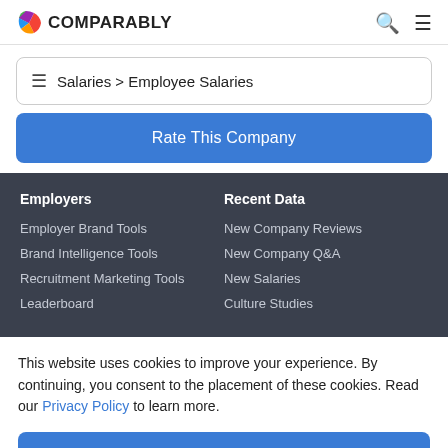COMPARABLY
Salaries > Employee Salaries
Rate This Company
Employers
Employer Brand Tools
Brand Intelligence Tools
Recruitment Marketing Tools
Leaderboard
Recent Data
New Company Reviews
New Company Q&A
New Salaries
Culture Studies
This website uses cookies to improve your experience. By continuing, you consent to the placement of these cookies. Read our Privacy Policy to learn more.
ACCEPT